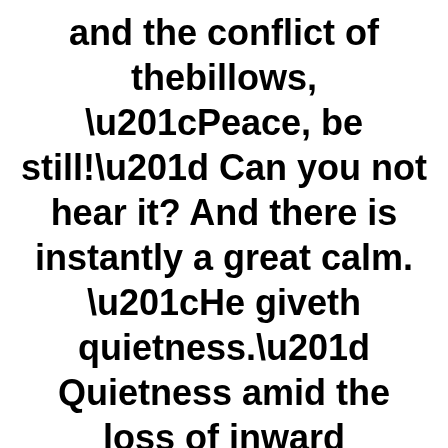and the conflict of thebillows, “Peace, be still!” Can you not hear it? And there is instantly a great calm. “He giveth quietness.” Quietness amid the loss of inward consolations. He sometimes withdraws those, because we make